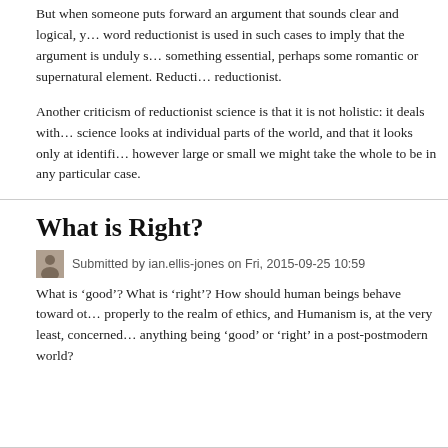But when someone puts forward an argument that sounds clear and logical, the word reductionist is used in such cases to imply that the argument is unduly simplistic, missing something essential, perhaps some romantic or supernatural element. Reductionism is proud to be reductionist.
Another criticism of reductionist science is that it is not holistic: it deals with parts. Science looks at individual parts of the world, and that it looks only at identifiable parts, however large or small we might take the whole to be in any particular case.
What is Right?
Submitted by ian.ellis-jones on Fri, 2015-09-25 10:59
What is ‘good’? What is ‘right’? How should human beings behave toward others? These questions belong properly to the realm of ethics, and Humanism is, at the very least, concerned with the question of anything being ‘good’ or ‘right’ in a post-postmodern world?